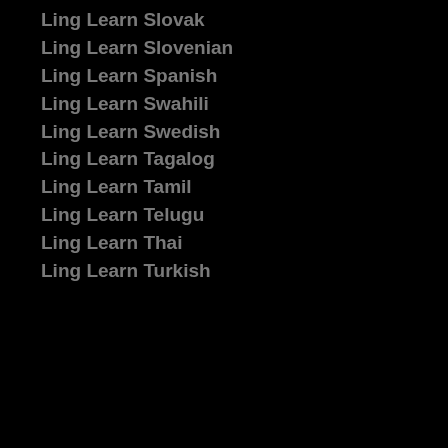Ling Learn Slovak
Ling Learn Slovenian
Ling Learn Spanish
Ling Learn Swahili
Ling Learn Swedish
Ling Learn Tagalog
Ling Learn Tamil
Ling Learn Telugu
Ling Learn Thai
Ling Learn Turkish